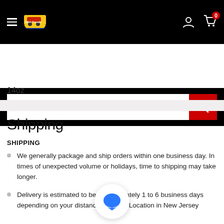[Figure (screenshot): Black navigation bar with hamburger menu, logo, user icon and cart icon with badge showing 0]
[Figure (screenshot): Search bar with white input field and red search button]
14oz
Shipping
SHIPPING
We generally package and ship orders within one business day. In times of unexpected volume or holidays, time to shipping may take longer.
Delivery is estimated to be approximately 1 to 6 business days depending on your distance from our Location in New Jersey
See the Shipping Policy for more details on our Shipping...